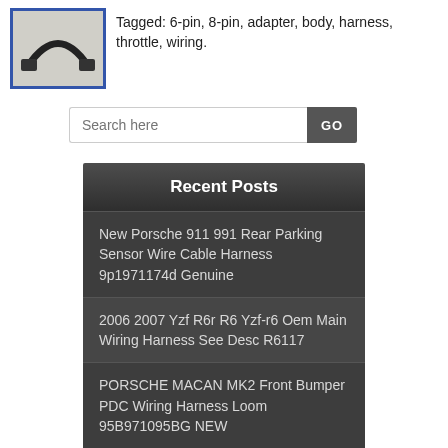[Figure (photo): Small product photo of a black wiring harness/cable with connectors, shown against a light background, with a blue border around the image.]
Tagged: 6-pin, 8-pin, adapter, body, harness, throttle, wiring.
[Figure (other): Search box with placeholder text 'Search here' and a dark GO button.]
Recent Posts
New Porsche 911 991 Rear Parking Sensor Wire Cable Harness 9p1971174d Genuine
2006 2007 Yzf R6r R6 Yzf-r6 Oem Main Wiring Harness See Desc R6117
PORSCHE MACAN MK2 Front Bumper PDC Wiring Harness Loom 95B971095BG NEW